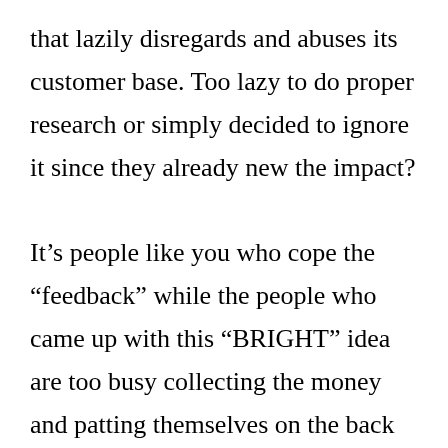that lazily disregards and abuses its customer base. Too lazy to do proper research or simply decided to ignore it since they already new the impact?

It’s people like you who cope the “feedback” while the people who came up with this “BRIGHT” idea are too busy collecting the money and patting themselves on the back to ever burden themselves with feedback. Sadly this is totally typical of software companies today, now we have fast processors and big